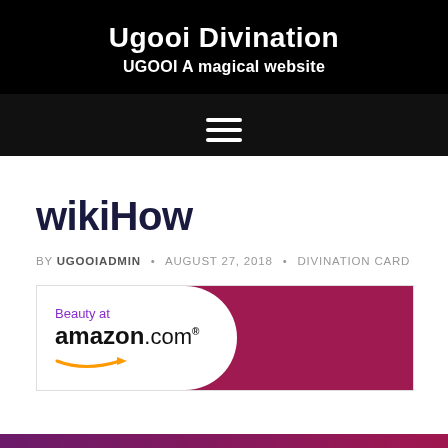Ugooi Divination
UGOOI A magical website
wikiHow
BY UGOOIADMIN • AUGUST 27, 2018 • DIVINATION CARD
[Figure (illustration): Amazon.com Beauty advertisement banner with white rounded left section on crimson/dark-pink background, showing 'Beauty at amazon.com' with the Amazon smile arrow logo.]